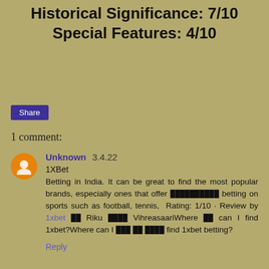Historical Significance: 7/10
Special Features: 4/10
Share
1 comment:
Unknown 3.4.22
1XBet
Betting in India. It can be great to find the most popular brands, especially ones that offer ██████████ betting on sports such as football, tennis, Rating: 1/10 · Review by 1xbet ██ Riku ████ VihreasaariWhere ██ can I find 1xbet?Where can I ███ ██ ████ find 1xbet betting?
Reply